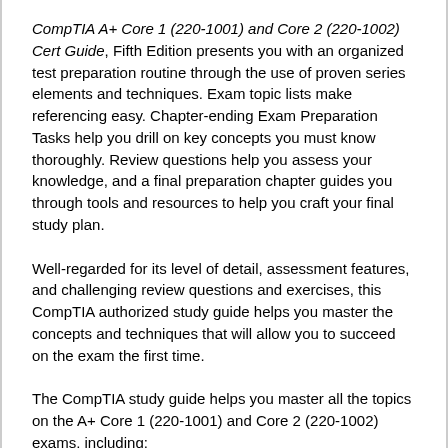CompTIA A+ Core 1 (220-1001) and Core 2 (220-1002) Cert Guide, Fifth Edition presents you with an organized test preparation routine through the use of proven series elements and techniques. Exam topic lists make referencing easy. Chapter-ending Exam Preparation Tasks help you drill on key concepts you must know thoroughly. Review questions help you assess your knowledge, and a final preparation chapter guides you through tools and resources to help you craft your final study plan.
Well-regarded for its level of detail, assessment features, and challenging review questions and exercises, this CompTIA authorized study guide helps you master the concepts and techniques that will allow you to succeed on the exam the first time.
The CompTIA study guide helps you master all the topics on the A+ Core 1 (220-1001) and Core 2 (220-1002) exams, including:
Core 1 (220-1001): Mobile devices, networking, hardware, virtualization and cloud computing, and hardware and network troubleshooting
Core 2 (220-1002): Operating systems, security, software